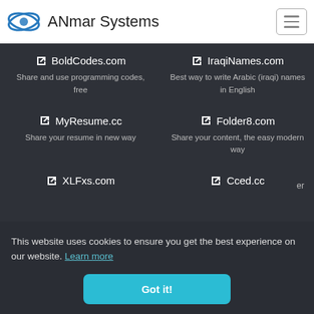ANmar Systems
BoldCodes.com – Share and use programming codes, free
IraqiNames.com – Best way to write Arabic (iraqi) names in English
MyResume.cc – Share your resume in new way
Folder8.com – Share your content, the easy modern way
XLFxs.com
Cced.cc
This website uses cookies to ensure you get the best experience on our website. Learn more
Got it!